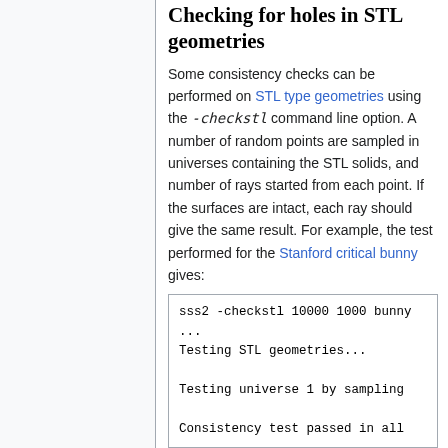Checking for holes in STL geometries
Some consistency checks can be performed on STL type geometries using the -checkstl command line option. A number of random points are sampled in universes containing the STL solids, and number of rays started from each point. If the surfaces are intact, each ray should give the same result. For example, the test performed for the Stanford critical bunny gives:
sss2 -checkstl 10000 1000 bunny
...
Testing STL geometries...

Testing universe 1 by sampling

Consistency test passed in all